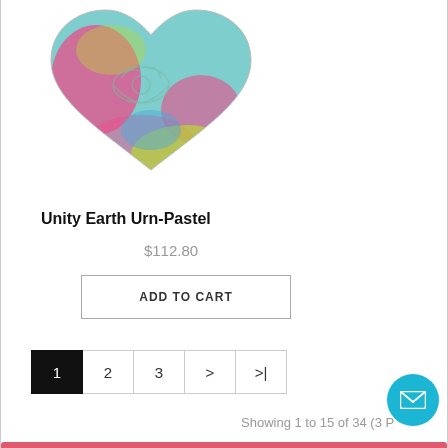[Figure (photo): Heart-shaped decorative urn in pastel colors — teal, pink, yellow-green — with floral/angel motifs engraved on the surface.]
Unity Earth Urn-Pastel
$112.80
ADD TO CART
1  2  3  >  >|
Showing 1 to 15 of 34 (3 P